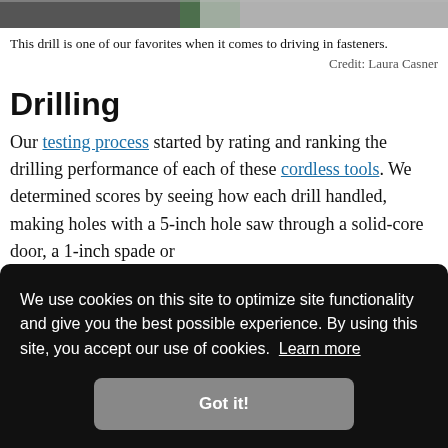[Figure (photo): Top portion of a photo showing a person using a drill, partially cropped]
This drill is one of our favorites when it comes to driving in fasteners.
Credit: Laura Casner
Drilling
Our testing process started by rating and ranking the drilling performance of each of these cordless tools. We determined scores by seeing how each drill handled, making holes with a 5-inch hole saw through a solid-core door, a 1-inch spade or
We use cookies on this site to optimize site functionality and give you the best possible experience. By using this site, you accept our use of cookies. Learn more
Got it!